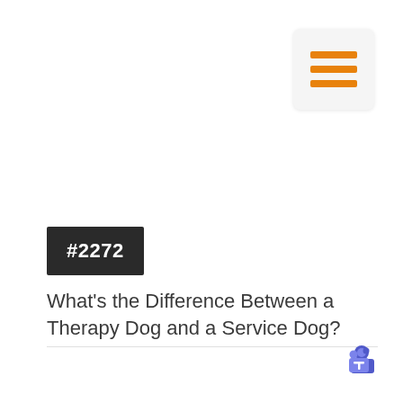[Figure (screenshot): Hamburger menu icon with three orange horizontal lines on a light gray rounded square background]
#2272
What's the Difference Between a Therapy Dog and a Service Dog?
[Figure (logo): Microsoft Teams logo icon, purple/blue]